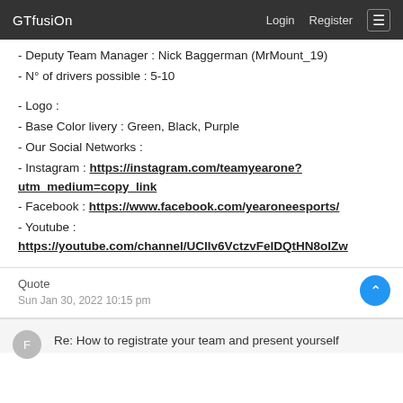GTfusiOn  Login  Register
- Deputy Team Manager : Nick Baggerman (MrMount_19)
- N° of drivers possible : 5-10
- Logo :
- Base Color livery : Green, Black, Purple
- Our Social Networks :
- Instagram : https://instagram.com/teamyearone?utm_medium=copy_link
- Facebook : https://www.facebook.com/yearoneesports/
- Youtube : https://youtube.com/channel/UCIlv6VctzvFeIDQtHN8oIZw
Quote
Sun Jan 30, 2022 10:15 pm
Re: How to registrate your team and present yourself